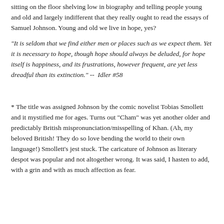sitting on the floor shelving low in biography and telling people young and old and largely indifferent that they really ought to read the essays of Samuel Johnson. Young and old we live in hope, yes?
"It is seldom that we find either men or places such as we expect them. Yet it is necessary to hope, though hope should always be deluded, for hope itself is happiness, and its frustrations, however frequent, are yet less dreadful than its extinction." --  Idler #58
* The title was assigned Johnson by the comic novelist Tobias Smollett and it mystified me for ages. Turns out "Cham" was yet another older and predictably British mispronunciation/misspelling of Khan. (Ah, my beloved British! They do so love bending the world to their own language!) Smollett's jest stuck. The caricature of Johnson as literary despot was popular and not altogether wrong. It was said, I hasten to add, with a grin and with as much affection as fear.